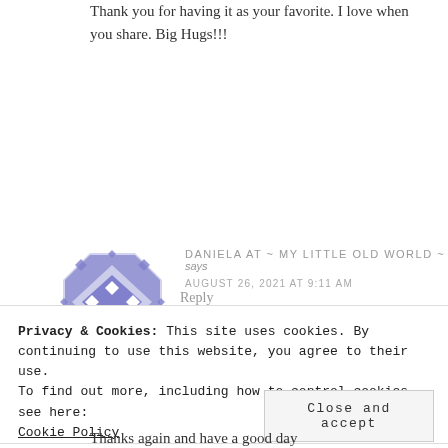Thank you for having it as your favorite. I love when you share. Big Hugs!!!
Reply
[Figure (illustration): Purple geometric avatar / commenter icon with diamond and octagon pattern]
DANIELA AT ~ MY LITTLE OLD WORLD ~ says
AUGUST 26, 2021 AT 9:11 AM
Privacy & Cookies: This site uses cookies. By continuing to use this website, you agree to their use.
To find out more, including how to control cookies, see here:
Cookie Policy
Close and accept
Thanks again and have a good day